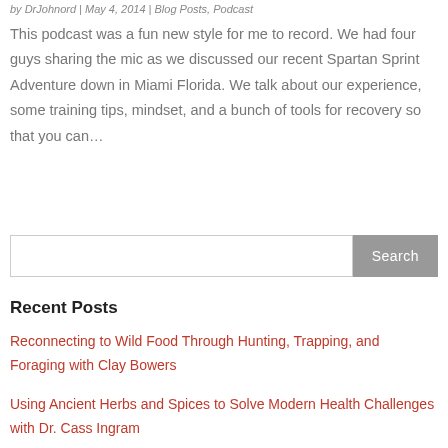by DrJohnord | May 4, 2014 | Blog Posts, Podcast
This podcast was a fun new style for me to record. We had four guys sharing the mic as we discussed our recent Spartan Sprint Adventure down in Miami Florida. We talk about our experience, some training tips, mindset, and a bunch of tools for recovery so that you can…
Recent Posts
Reconnecting to Wild Food Through Hunting, Trapping, and Foraging with Clay Bowers
Using Ancient Herbs and Spices to Solve Modern Health Challenges with Dr. Cass Ingram